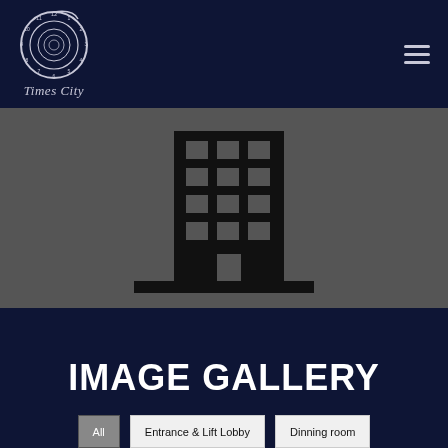[Figure (logo): Times City logo: a spiral clock face with numbers, with 'Times City' text in italic script below]
[Figure (illustration): Black silhouette of a multi-storey office building with grid windows and a base, on a dark grey background]
IMAGE GALLERY
All
Entrance & Lift Lobby
Dinning room